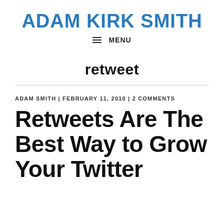ADAM KIRK SMITH
MENU
retweet
ADAM SMITH | FEBRUARY 11, 2010 | 2 COMMENTS
Retweets Are The Best Way to Grow Your Twitter